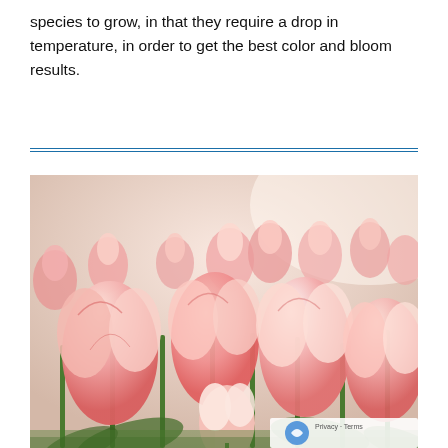species to grow, in that they require a drop in temperature, in order to get the best color and bloom results.
[Figure (photo): A field of pink tulips in bloom, photographed close-up with a shallow depth of field. The tulips have pink petals with slightly deeper pink edges and are shown on green stems against a bright, softly lit background.]